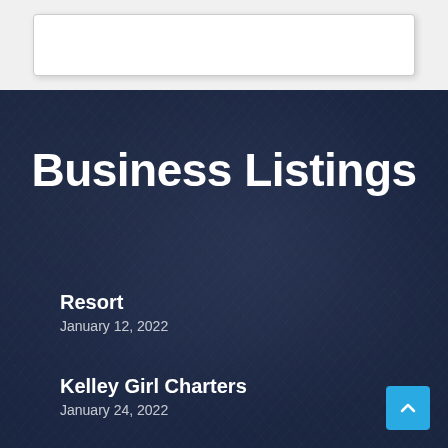[Figure (screenshot): Top section with light gray background containing a white card/box element]
Business Listings
Resort
January 12, 2022
Kelley Girl Charters
January 24, 2022